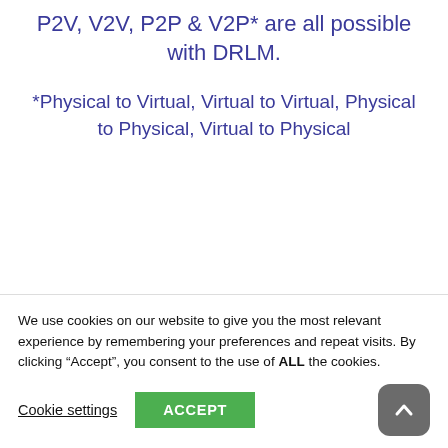P2V, V2V, P2P & V2P* are all possible with DRLM.
*Physical to Virtual, Virtual to Virtual, Physical to Physical, Virtual to Physical
[Figure (illustration): Two open envelope icons side by side, rendered in dark blue and light purple/blue colors, partially cut off at bottom of visible area.]
We use cookies on our website to give you the most relevant experience by remembering your preferences and repeat visits. By clicking “Accept”, you consent to the use of ALL the cookies.